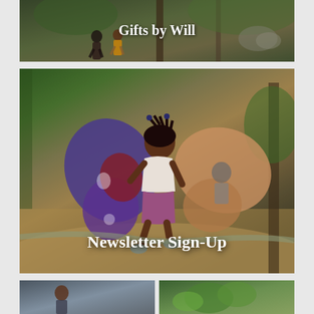[Figure (photo): Photo of adults walking in a park with trees in background, overlaid with white serif text 'Gifts by Will']
[Figure (photo): Photo of a young girl running and smiling outdoors, wearing butterfly wings costume prop, overlaid with white serif text 'Newsletter Sign-Up']
[Figure (photo): Two smaller photos side by side at bottom, partially visible: left appears to show a person, right shows green foliage/plant]